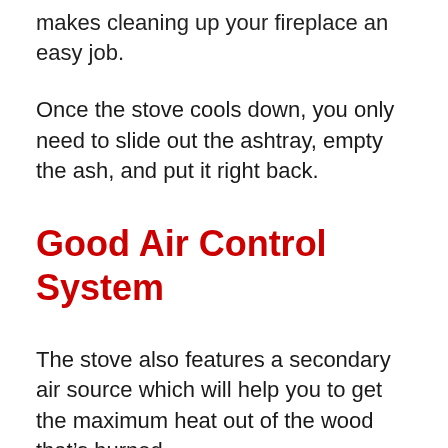makes cleaning up your fireplace an easy job.
Once the stove cools down, you only need to slide out the ashtray, empty the ash, and put it right back.
Good Air Control System
The stove also features a secondary air source which will help you to get the maximum heat out of the wood that’s burned.
When the wood is burning, the heated air is passed through a perforated baffle, allowing better combustion before the particles are released.
The integrated air control valve on the top of the unit helps in adjusting the air flow into the firebox, for